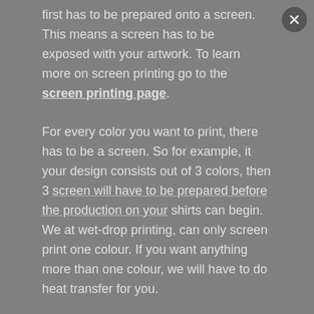first has to be prepared onto a screen. This means a screen has to be exposed with your artwork. To learn more on screen printing go to the screen printing page.
For every color you want to print, there has to be a screen. So for example, it your design consists out of 3 colors, then 3 screen will have to be prepared before the production on your shirts can begin. We at wet-drop printing, can only screen print one colour. If you want anything more than one colour, we will have to do heat transfer for you.
To learn more about this technique view our screen printing page.
Sublimation Printing
Sublimation printing is when a picture is printed onto a special paper using special ink. The paper is placed onto the shirt and